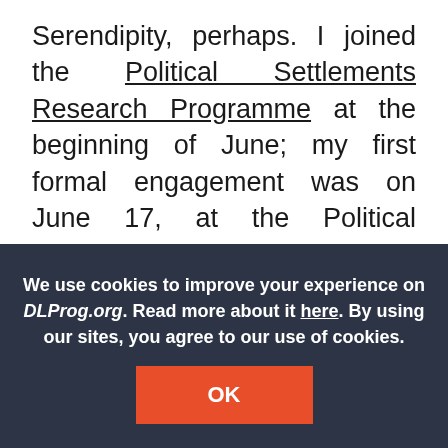Serendipity, perhaps. I joined the Political Settlements Research Programme at the beginning of June; my first formal engagement was on June 17, at the Political Settlements Workshop organised by the Developmental Leadership Program. It was quite an induction day.
I found myself catapulted straight into policy…
We use cookies to improve your experience on DLProg.org. Read more about it here. By using our sites, you agree to our use of cookies.
OK